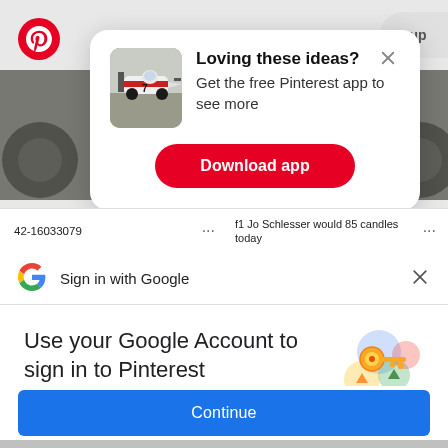[Figure (screenshot): Pinterest app promotional modal with thumbnail image of Formula 1 race car number 7, title 'Loving these ideas?', subtitle 'Get the free Pinterest app to see more', and a red 'Download app' button]
42-16033079
f1 Jo Schlesser would 85 candles today
[Figure (screenshot): Google Sign-in prompt bar with Google 'G' logo and text 'Sign in with Google' with X close button]
Use your Google Account to sign in to Pinterest
No more passwords to remember.
Signing in is fast, simple and secure.
[Figure (illustration): Google key illustration with colorful circular icons and a gold key]
Continue